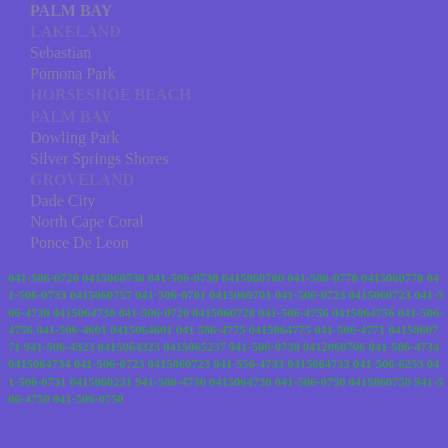PALM BAY
LAKELAND
Sebastian
Pomona Park
HORSESHOE BEACH
PALM BAY
Dowling Park
Silver Springs Shores
GROVELAND
Dade City
North Cape Coral
Ponce De Leon
041-506-0720 0415060738 041-506-0738 0415060780 041-506-0778 0415060778 041-506-0733 0415060757 041-506-0701 0415060701 041-506-0723 0415060723 041-506-4730 0415064730 041-506-0720 0415060728 041-506-4756 0415064756 041-506-4756 041-506-4601 0415064601 041 586-4775 0415864775 041-506-4771 0415060771 941-506-4323 0415064323 0415065237 941-506-0738 0412060706 041-506-4734 0415064734 041-506-0723 0415060723 041-556-4733 0415664733 041-506-6253 041-506-0731 0415060231 941-506-4730 0415064730 041-506-0750 0415060750 941-506-4750 041-506-0750